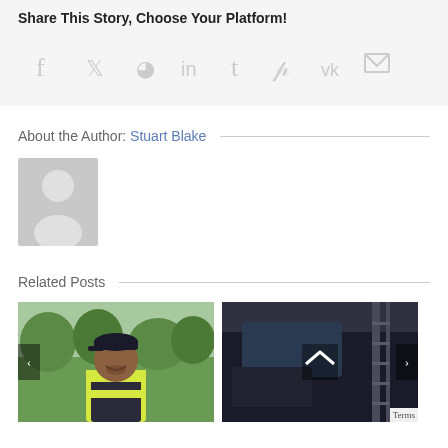Share This Story, Choose Your Platform!
[Figure (infographic): Social share icons: Facebook, Twitter, Reddit, LinkedIn, Tumblr, Pinterest, VK, Email]
About the Author: Stuart Blake
[Figure (photo): Default author avatar placeholder — grey silhouette of a person]
Related Posts
[Figure (photo): Photo of a man in a yellow safety vest and black cap, smiling outdoors with trees in background]
[Figure (photo): Photo of a vehicle interior/exterior, dark tones]